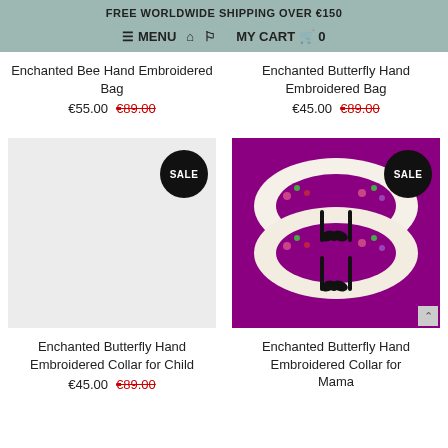FREE WORLDWIDE SHIPPING OVER €150
≡ MENU 🏠 👤 MY CART 🛒 0
Enchanted Bee Hand Embroidered Bag
€55.00  €89.00
Enchanted Butterfly Hand Embroidered Bag
€45.00  €89.00
[Figure (photo): White/light grey placeholder image with SALE badge for Enchanted Butterfly Hand Embroidered Collar for Child]
[Figure (photo): Photo of two embroidered white Peter Pan collars with floral embroidery on purple background, with SALE badge. Enchanted Butterfly Hand Embroidered Collar for Mama]
Enchanted Butterfly Hand Embroidered Collar for Child
€45.00  €89.00
Enchanted Butterfly Hand Embroidered Collar for Mama